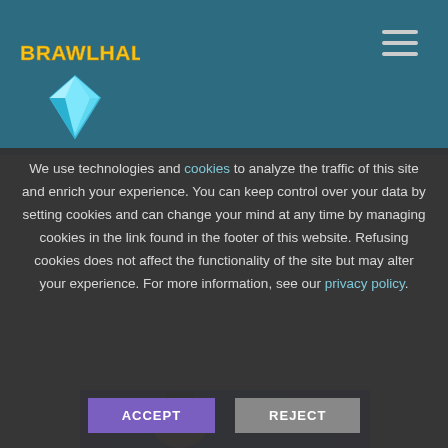[Figure (logo): Brawlhalla game logo with diamond/crystal icon and stylized text]
We use technologies and cookies to analyze the traffic of this site and enrich your experience. You can keep control over your data by setting cookies and can change your mind at any time by managing cookies in the link found in the footer of this website. Refusing cookies does not affect the functionality of the site but may alter your experience. For more information, see our privacy policy.
ACCEPT
REJECT
[Figure (illustration): Brawlhalla game character - cartoon cat with hat at bottom of page]